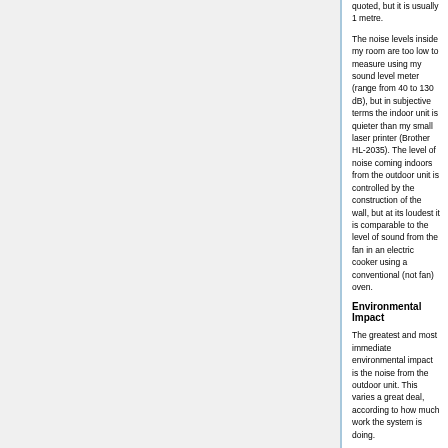quoted, but it is usually 1 metre.
The noise levels inside my room are too low to measure using my sound level meter (range from 40 to 130 dB), but in subjective terms the indoor unit is quieter than my small laser printer (Brother HL-2035). The level of noise coming indoors from the outdoor unit is controlled by the construction of the wall, but at its loudest it is comparable to the level of sound from the fan in an electric cooker using a conventional (not fan) oven.
Environmental Impact
The greatest and most immediate environmental impact is the noise from the outdoor unit. This varies a great deal, according to how much work the system is doing.